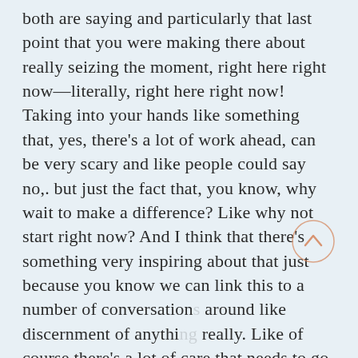both are saying and particularly that last point that you were making there about really seizing the moment, right here right now—literally, right here right now! Taking into your hands like something that, yes, there's a lot of work ahead, can be very scary and like people could say no,. but just the fact that, you know, why wait to make a difference? Like why not start right now? And I think that there's something very inspiring about that just because you know we can link this to a number of conversations around like discernment of anything really. Like of course there's a lot of care that needs to go into discerning to start something or discerning your